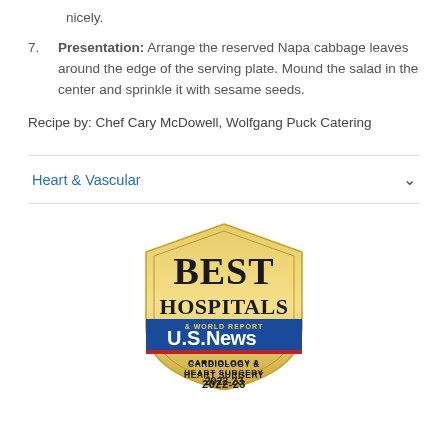nicely.
7. Presentation:  Arrange the reserved Napa cabbage leaves around the edge of the serving plate.  Mound the salad in the center and sprinkle it with sesame seeds.
Recipe by: Chef Cary McDowell, Wolfgang Puck Catering
Heart & Vascular
[Figure (logo): U.S. News & World Report Best Hospitals badge for Cardiology & Heart Surgery 2022-23, gold shield shape with blue banner]